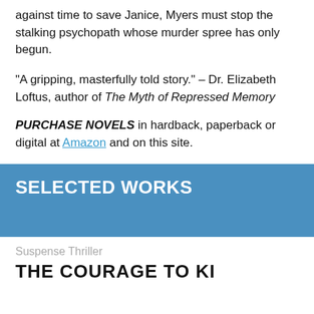against time to save Janice, Myers must stop the stalking psychopath whose murder spree has only begun.
"A gripping, masterfully told story." – Dr. Elizabeth Loftus, author of The Myth of Repressed Memory
PURCHASE NOVELS in hardback, paperback or digital at Amazon and on this site.
SELECTED WORKS
Suspense Thriller
THE COURAGE TO KI...